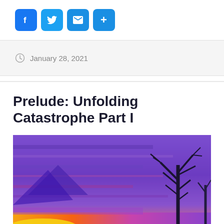[Figure (other): Social media sharing buttons: Facebook (f), Twitter (bird), Email (envelope), More (+), all in blue rounded square buttons]
January 28, 2021
Prelude: Unfolding Catastrophe Part I
[Figure (photo): Stylized/filtered landscape photo with purple and blue hues, bare tree silhouette on the right side, dramatic sky, abstract color treatment resembling an aurora or disaster scene with yellow-orange at the bottom]